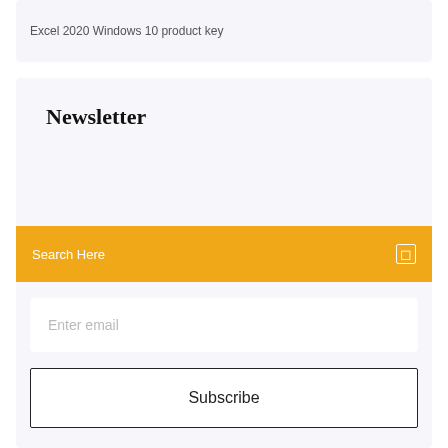Excel 2020 Windows 10 product key
Newsletter
Search Here
Enter email
Subscribe